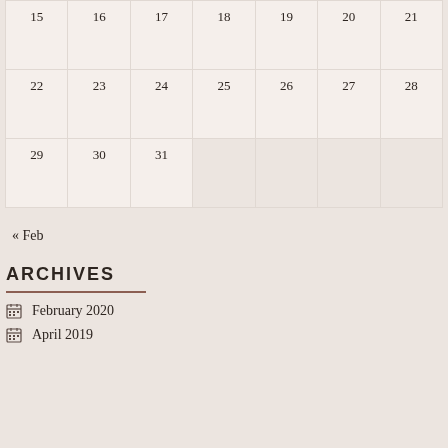| 15 | 16 | 17 | 18 | 19 | 20 | 21 |
| 22 | 23 | 24 | 25 | 26 | 27 | 28 |
| 29 | 30 | 31 |  |  |  |  |
« Feb
ARCHIVES
February 2020
April 2019